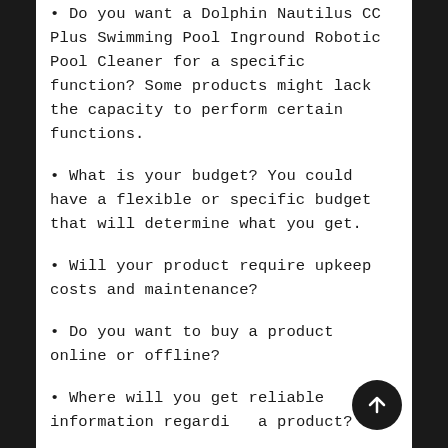• Do you want a Dolphin Nautilus CC Plus Swimming Pool Inground Robotic Pool Cleaner for a specific function? Some products might lack the capacity to perform certain functions.
• What is your budget? You could have a flexible or specific budget that will determine what you get.
• Will your product require upkeep costs and maintenance?
• Do you want to buy a product online or offline?
• Where will you get reliable information regarding a product?